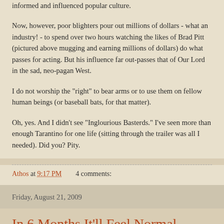informed and influenced popular culture.

Now, however, poor blighters pour out millions of dollars - what an industry! - to spend over two hours watching the likes of Brad Pitt (pictured above mugging and earning millions of dollars) do what passes for acting. But his influence far out-passes that of Our Lord in the sad, neo-pagan West.

I do not worship the "right" to bear arms or to use them on fellow human beings (or baseball bats, for that matter).

Oh, yes. And I didn't see "Inglourious Basterds." I've seen more than enough Tarantino for one life (sitting through the trailer was all I needed). Did you? Pity.
Athos at 9:17 PM    4 comments:
Friday, August 21, 2009
In 6 Months It'll Feel Normal